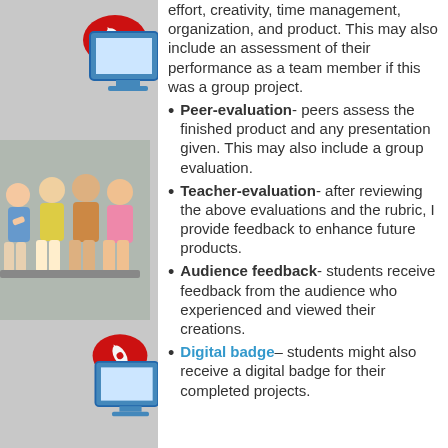[Figure (illustration): Left column with gray background containing decorative images: a speech bubble icon with rocket, a laptop/monitor icon, children posing, and repeated icons below]
effort, creativity, time management, organization, and product. This may also include an assessment of their performance as a team member if this was a group project.
Peer-evaluation- peers assess the finished product and any presentation given. This may also include a group evaluation.
Teacher-evaluation- after reviewing the above evaluations and the rubric, I provide feedback to enhance future products.
Audience feedback- students receive feedback from the audience who experienced and viewed their creations.
Digital badge– students might also receive a digital badge for their completed projects.